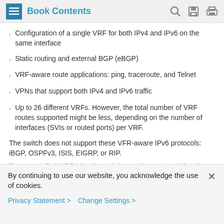Book Contents
Configuration of a single VRF for both IPv4 and IPv6 on the same interface
Static routing and external BGP (eBGP)
VRF-aware route applications: ping, traceroute, and Telnet
VPNs that support both IPv4 and IPv6 traffic
Up to 26 different VRFs. However, the total number of VRF routes supported might be less, depending on the number of interfaces (SVIs or routed ports) per VRF.
The switch does not support these VFR-aware IPv6 protocols: iBGP, OSPFv3, ISIS, EIGRP, or RIP.
To support IPv6 VRF-Lite, the switch must be running either the
By continuing to use our website, you acknowledge the use of cookies.
Privacy Statement > Change Settings >